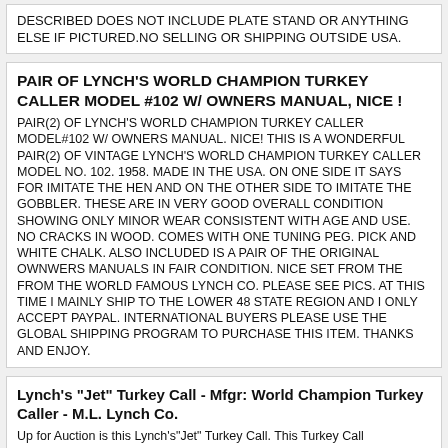DESCRIBED DOES NOT INCLUDE PLATE STAND OR ANYTHING ELSE IF PICTURED.NO SELLING OR SHIPPING OUTSIDE USA.
PAIR OF LYNCH'S WORLD CHAMPION TURKEY CALLER MODEL #102 W/ OWNERS MANUAL, NICE !
PAIR(2) OF LYNCH'S WORLD CHAMPION TURKEY CALLER MODEL#102 W/ OWNERS MANUAL. NICE! THIS IS A WONDERFUL PAIR(2) OF VINTAGE LYNCH'S WORLD CHAMPION TURKEY CALLER MODEL NO. 102. 1958. MADE IN THE USA. ON ONE SIDE IT SAYS FOR IMITATE THE HEN AND ON THE OTHER SIDE TO IMITATE THE GOBBLER. THESE ARE IN VERY GOOD OVERALL CONDITION SHOWING ONLY MINOR WEAR CONSISTENT WITH AGE AND USE. NO CRACKS IN WOOD. COMES WITH ONE TUNING PEG. PICK AND WHITE CHALK. ALSO INCLUDED IS A PAIR OF THE ORIGINAL OWNWERS MANUALS IN FAIR CONDITION. NICE SET FROM THE FROM THE WORLD FAMOUS LYNCH CO. PLEASE SEE PICS. AT THIS TIME I MAINLY SHIP TO THE LOWER 48 STATE REGION AND I ONLY ACCEPT PAYPAL. INTERNATIONAL BUYERS PLEASE USE THE GLOBAL SHIPPING PROGRAM TO PURCHASE THIS ITEM. THANKS AND ENJOY.
Lynch's "Jet" Turkey Call - Mfgr: World Champion Turkey Caller - M.L. Lynch Co.
Up for Auction is this Lynch's"Jet" Turkey Call. This Turkey Call has"Lynch's"Jet" Turkey Call" on the Square Wooden Piece. There is"Lynch's Jet Turkey Call. Mfgr: World Champion Caller. M.L. Lynch Co. P.O. Box 377 Liberty. Miss. Sand Slate Frequently" Stamped on the Rectangular Wooden and Slate Piece. This Turkey Call is in Good Used Condition. It was Tested and Works Fine. We will do our best to make sure your given the best customer service as possible. If there is a